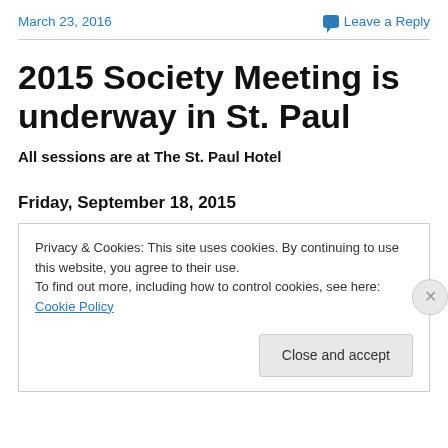March 23, 2016   Leave a Reply
2015 Society Meeting is underway in St. Paul
All sessions are at The St. Paul Hotel
Friday, September 18, 2015
Privacy & Cookies: This site uses cookies. By continuing to use this website, you agree to their use.
To find out more, including how to control cookies, see here: Cookie Policy
Close and accept